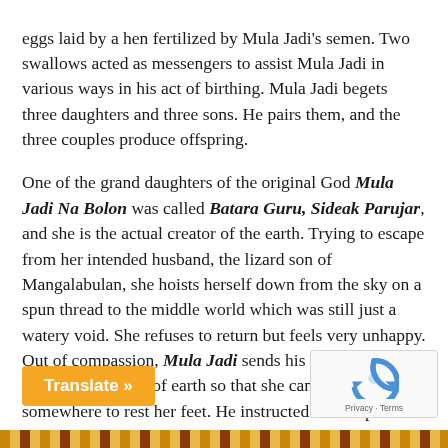eggs laid by a hen fertilized by Mula Jadi's semen. Two swallows acted as messengers to assist Mula Jadi in various ways in his act of birthing. Mula Jadi begets three daughters and three sons. He pairs them, and the three couples produce offspring.
One of the grand daughters of the original God Mula Jadi Na Bolon was called Batara Guru, Sideak Parujar, and she is the actual creator of the earth. Trying to escape from her intended husband, the lizard son of Mangalabulan, she hoists herself down from the sky on a spun thread to the middle world which was still just a watery void. She refuses to return but feels very unhappy. Out of compassion, Mula Jadi sends his granddaughter a god-sized handful of earth so that she can find somewhere to rest her feet. He instructed her to spread out the earth so that it became broad and long and she could rest. But the goddess d relax for long.
[Figure (other): Orange 'Translate »' button overlay at bottom left]
[Figure (other): Google reCAPTCHA logo box at bottom right with Privacy - Terms text]